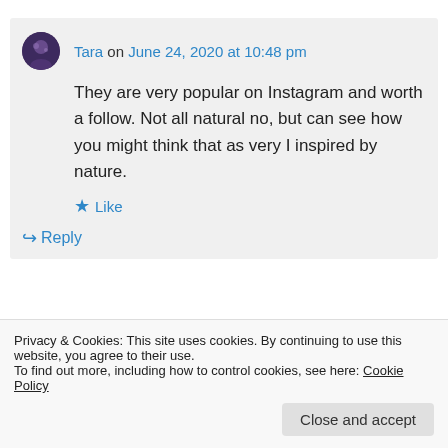Tara on June 24, 2020 at 10:48 pm
They are very popular on Instagram and worth a follow. Not all natural no, but can see how you might think that as very I inspired by nature.
Like
Reply
Privacy & Cookies: This site uses cookies. By continuing to use this website, you agree to their use.
To find out more, including how to control cookies, see here: Cookie Policy
Close and accept